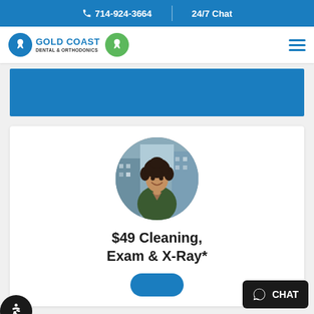📞 714-924-3664 | 24/7 Chat
[Figure (logo): Gold Coast Dental & Orthodontics logo with blue and green tooth icons]
[Figure (photo): Circular photo of a smiling woman with curly hair in an urban setting]
$49 Cleaning, Exam & X-Ray*